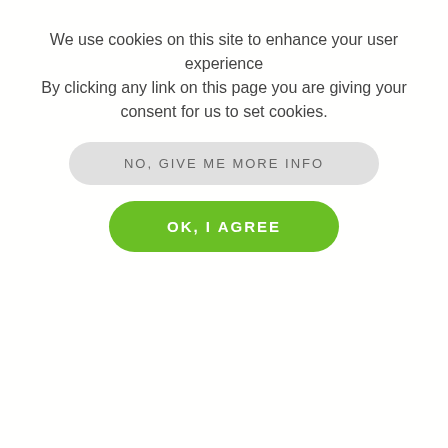We use cookies on this site to enhance your user experience
By clicking any link on this page you are giving your consent for us to set cookies.
NO, GIVE ME MORE INFO
OK, I AGREE
Accomplice
Covering: Australia
C T I P
Fabric Films